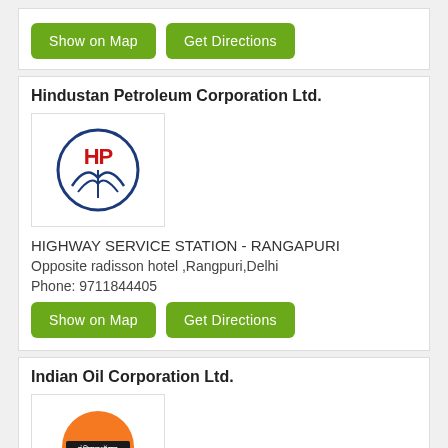Show on Map | Get Directions (buttons)
Hindustan Petroleum Corporation Ltd.
[Figure (logo): HP (Hindustan Petroleum) logo — circular badge with HP letters in red and blue leaf design]
HIGHWAY SERVICE STATION - RANGAPURI
Opposite radisson hotel ,Rangpuri,Delhi
Phone: 9711844405
Show on Map | Get Directions (buttons)
Indian Oil Corporation Ltd.
[Figure (logo): IndianOil logo — orange circle with Hindi text and IndianOil wordmark below]
IOC Auto Service, Masjid Mod
Masjid Moth, Delhi
Phone: 8853779554
Show on Map | Get Directions (buttons)
Indian Oil Corporation Ltd.